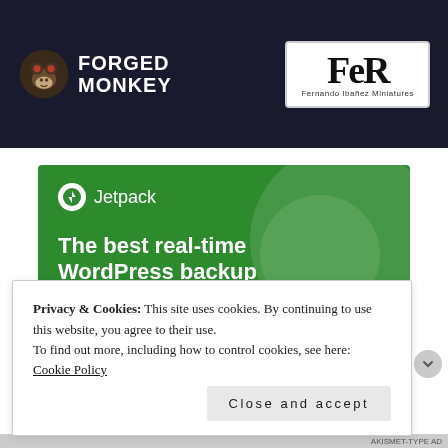[Figure (screenshot): Banner with Forged Monkey logo on left (dark background, cartoon monkey icon with text) and FeR Fernando Ibañez Miniatures logo on right (white box with serif letters)]
[Figure (screenshot): Jetpack WordPress plugin advertisement on green background. Header shows Jetpack logo and brand name. Tagline reads: The best real-time WordPress backup plugin]
Privacy & Cookies: This site uses cookies. By continuing to use this website, you agree to their use.
To find out more, including how to control cookies, see here: Cookie Policy
Close and accept